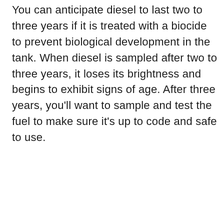You can anticipate diesel to last two to three years if it is treated with a biocide to prevent biological development in the tank. When diesel is sampled after two to three years, it loses its brightness and begins to exhibit signs of age. After three years, you'll want to sample and test the fuel to make sure it's up to code and safe to use.